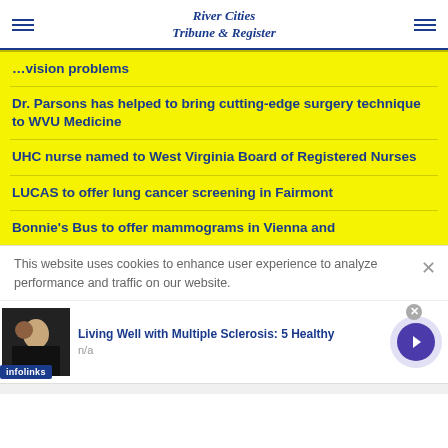River Cities Tribune & Register
vision problems
Dr. Parsons has helped to bring cutting-edge surgery technique to WVU Medicine
UHC nurse named to West Virginia Board of Registered Nurses
LUCAS to offer lung cancer screening in Fairmont
Bonnie's Bus to offer mammograms in Vienna and
This website uses cookies to enhance user experience to analyze performance and traffic on our website.
Living Well with Multiple Sclerosis: 5 Healthy
n/a